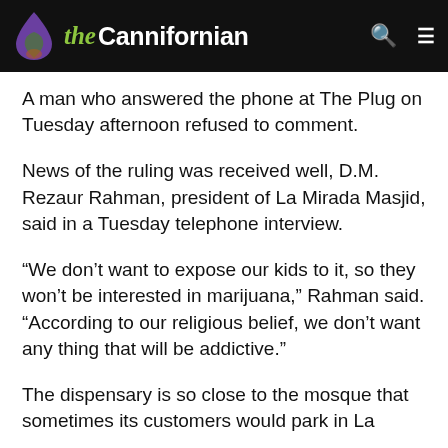the Cannifornian
A man who answered the phone at The Plug on Tuesday afternoon refused to comment.
News of the ruling was received well, D.M. Rezaur Rahman, president of La Mirada Masjid, said in a Tuesday telephone interview.
“We don’t want to expose our kids to it, so they won’t be interested in marijuana,” Rahman said. “According to our religious belief, we don’t want any thing that will be addictive.”
The dispensary is so close to the mosque that sometimes its customers would park in La Mirada